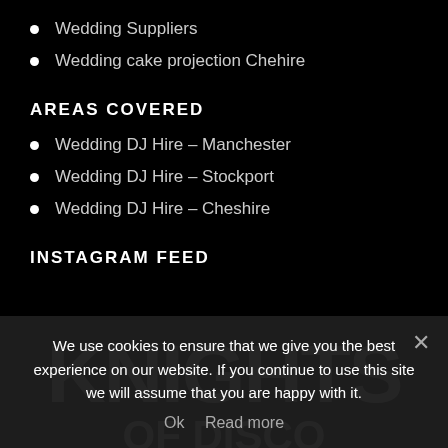Wedding Suppliers
Wedding cake projection Chehire
AREAS COVERED
Wedding DJ Hire – Manchester
Wedding DJ Hire – Stockport
Wedding DJ Hire – Cheshire
INSTAGRAM FEED
[Figure (logo): Knights of Disco logo in large bold white text on black background]
We use cookies to ensure that we give you the best experience on our website. If you continue to use this site we will assume that you are happy with it.
Ok   Read more